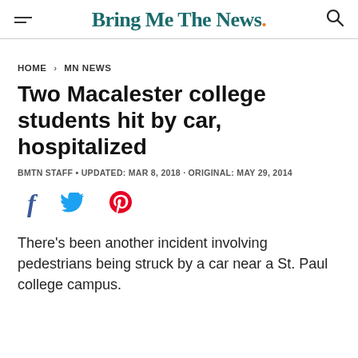Bring Me The News.
HOME > MN NEWS
Two Macalester college students hit by car, hospitalized
BMTN STAFF • UPDATED: MAR 8, 2018 · ORIGINAL: MAY 29, 2014
[Figure (other): Social media share icons: Facebook, Twitter, Pinterest]
There's been another incident involving pedestrians being struck by a car near a St. Paul college campus.